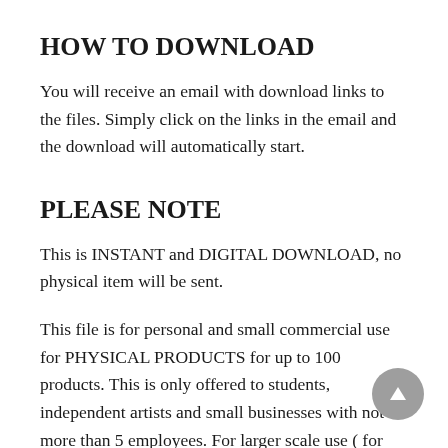HOW TO DOWNLOAD
You will receive an email with download links to the files. Simply click on the links in the email and the download will automatically start.
PLEASE NOTE
This is INSTANT and DIGITAL DOWNLOAD, no physical item will be sent.
This file is for personal and small commercial use for PHYSICAL PRODUCTS for up to 100 products. This is only offered to students, independent artists and small businesses with not more than 5 employees. For larger scale use ( for 100+ products) and use on PRINT ON DEMAND SITES, please get our “Extended license” for an